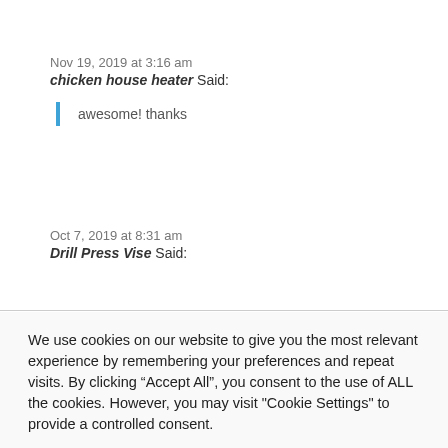Nov 19, 2019 at 3:16 am
chicken house heater Said:
awesome! thanks
Oct 7, 2019 at 8:31 am
Drill Press Vise Said:
We use cookies on our website to give you the most relevant experience by remembering your preferences and repeat visits. By clicking “Accept All”, you consent to the use of ALL the cookies. However, you may visit "Cookie Settings" to provide a controlled consent.